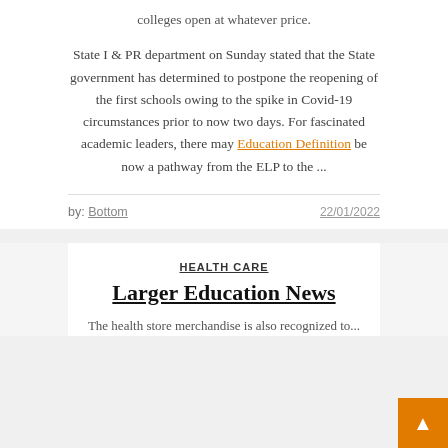colleges open at whatever price.
State I & PR department on Sunday stated that the State government has determined to postpone the reopening of the first schools owing to the spike in Covid-19 circumstances prior to now two days. For fascinated academic leaders, there may Education Definition be now a pathway from the ELP to the ...
by: Bottom
22/01/2022
HEALTH CARE
Larger Education News
The health store merchandise is also recognized to...